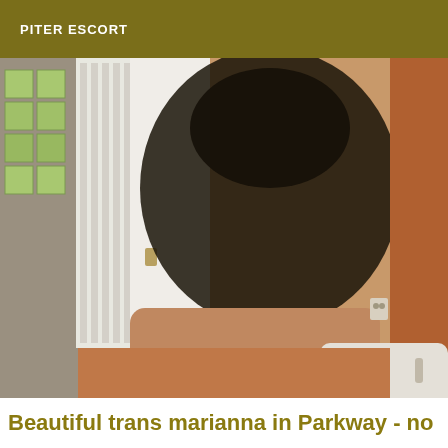PITER ESCORT
[Figure (photo): A person in a bathroom taking a mirror selfie, wearing a black fishnet top and short outfit. Visible elements include a white radiator, green tiled wall, orange/terracotta wall on the right, and a white bathtub in the lower right corner.]
Beautiful trans marianna in Parkway - no